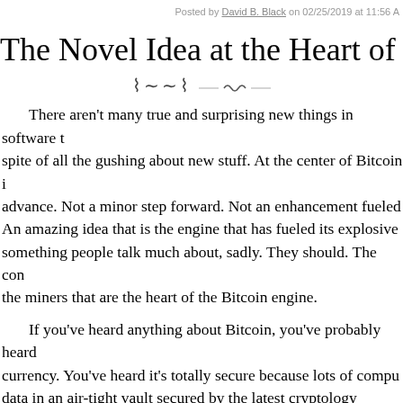Posted by David B. Black on 02/25/2019 at 11:56 A
The Novel Idea at the Heart of Bi
There aren't many true and surprising new things in software t spite of all the gushing about new stuff. At the center of Bitcoin i advance. Not a minor step forward. Not an enhancement fueled An amazing idea that is the engine that has fueled its explosive something people talk much about, sadly. They should. The con the miners that are the heart of the Bitcoin engine.
If you've heard anything about Bitcoin, you've probably heard currency. You've heard it's totally secure because lots of compu data in an air-tight vault secured by the latest cryptology algorith heard that it's a ledger of transactions, and that the ledger is dis somehow makes it better. All these things that you've heard are